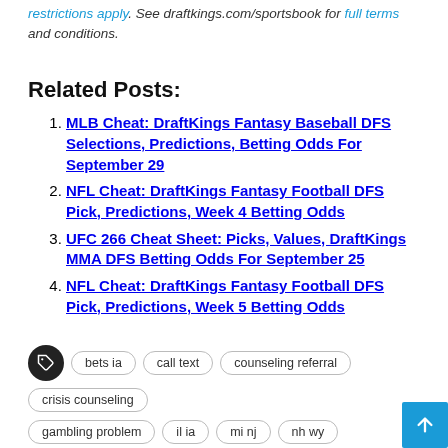restrictions apply. See draftkings.com/sportsbook for full terms and conditions.
Related Posts:
MLB Cheat: DraftKings Fantasy Baseball DFS Selections, Predictions, Betting Odds For September 29
NFL Cheat: DraftKings Fantasy Football DFS Pick, Predictions, Week 4 Betting Odds
UFC 266 Cheat Sheet: Picks, Values, DraftKings MMA DFS Betting Odds For September 25
NFL Cheat: DraftKings Fantasy Football DFS Pick, Predictions, Week 5 Betting Odds
bets ia   call text   counseling referral   crisis counseling   gambling problem   il ia   mi nj   nh wy
0